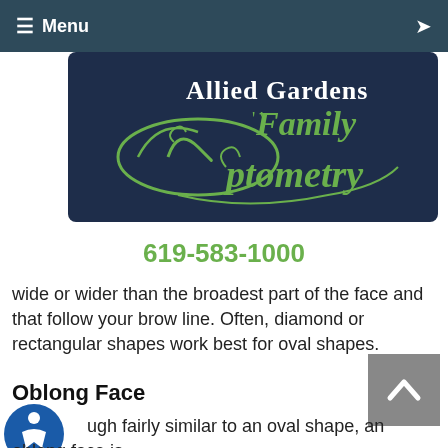≡ Menu
[Figure (logo): Allied Gardens Family Optometry logo — green cursive text on dark navy background with decorative eye/swirl design]
619-583-1000
wide or wider than the broadest part of the face and that follow your brow line. Often, diamond or rectangular shapes work best for oval shapes.
Oblong Face
Although fairly similar to an oval shape, an oblong face is longer than it is wide. The ideal frames will shorten the